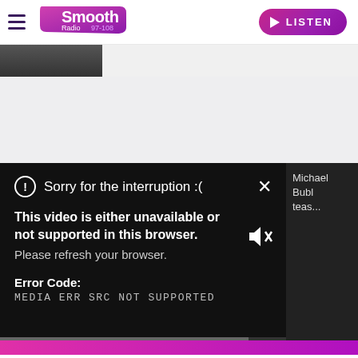[Figure (logo): Smooth Radio 97-108 logo with pink/purple gradient]
[Figure (screenshot): Listen button with play triangle icon, pink/purple gradient]
[Figure (photo): Partial image strip showing dark photo thumbnail on left, grey area on right]
Sorry for the interruption :(
This video is either unavailable or not supported in this browser. Please refresh your browser.
Error Code: MEDIA ERR SRC NOT SUPPORTED
Michael Bubl... teas...